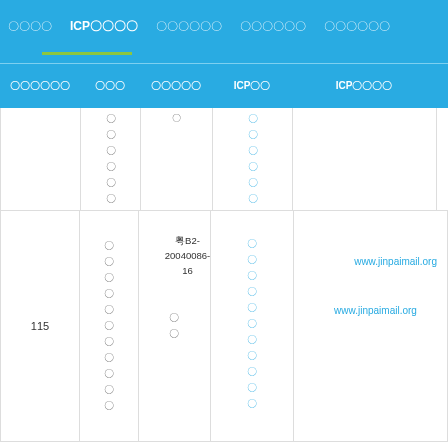〇〇〇〇  ICP〇〇〇〇  〇〇〇〇〇〇  〇〇〇〇〇〇  〇〇〇〇〇〇
| 〇〇〇〇〇〇 | 〇〇〇 | 〇〇〇〇〇 | ICP〇〇 | ICP〇〇〇〇 |
| --- | --- | --- | --- | --- |
|  | 〇
〇
〇
〇
〇
〇 |  | 〇
〇
〇
〇
〇
〇 |  |
| 115 | 〇
〇
〇
〇
〇
〇
〇
〇
〇
〇
〇 | 〇
〇 | 粤B2-20040086-16 | www.jinpaimail.org |